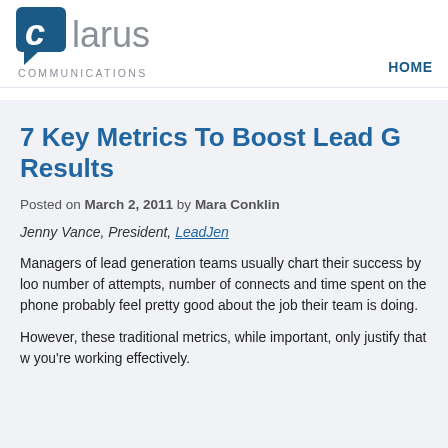Clarus Communications | HOME
7 Key Metrics To Boost Lead Generation Results
Posted on March 2, 2011 by Mara Conklin
Jenny Vance, President, LeadJen
Managers of lead generation teams usually chart their success by looking at the number of attempts, number of connects and time spent on the phone. They probably feel pretty good about the job their team is doing.
However, these traditional metrics, while important, only justify that work is being done, not that you're working effectively.